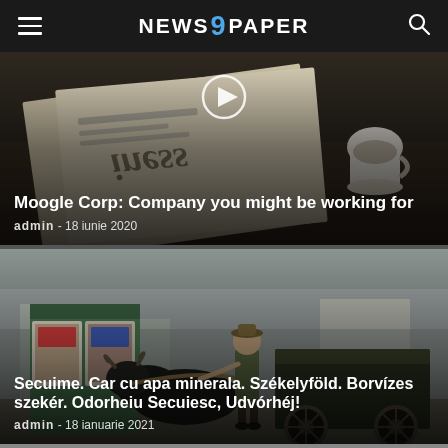NEWS 9 PAPER
[Figure (photo): Upside-down newspaper on desk with coffee cup, with circular play button overlay. Article about Moogle Corp.]
Moogle Corp: Company you might be working for
admin - 18 iunie 2020
[Figure (photo): Black and white vintage photo of a man with a horse-drawn cart near a kiosk with posters, street scene.]
Secuime. Car cu apa minerala. Székelyföld. Borvízes szekér. Odorheiu Secuiesc, Udvórhéj!
admin - 18 ianuarie 2021